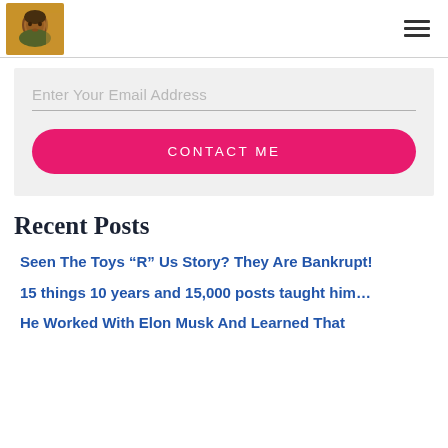[Figure (photo): Small square profile photo of a man, warm tones with orange/brown background]
Enter Your Email Address
CONTACT ME
Recent Posts
Seen The Toys “R” Us Story? They Are Bankrupt!
15 things 10 years and 15,000 posts taught him…
He Worked With Elon Musk And Learned That